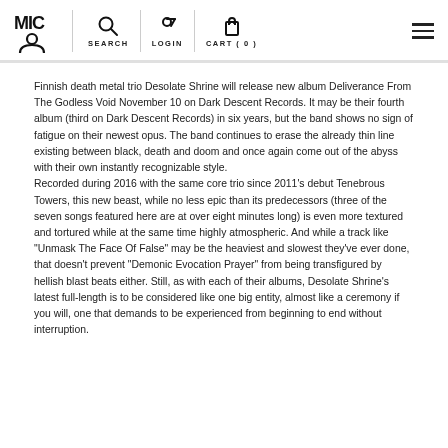MIC | SEARCH | LOGIN | CART (0)
Finnish death metal trio Desolate Shrine will release new album Deliverance From The Godless Void November 10 on Dark Descent Records. It may be their fourth album (third on Dark Descent Records) in six years, but the band shows no sign of fatigue on their newest opus. The band continues to erase the already thin line existing between black, death and doom and once again come out of the abyss with their own instantly recognizable style.
Recorded during 2016 with the same core trio since 2011's debut Tenebrous Towers, this new beast, while no less epic than its predecessors (three of the seven songs featured here are at over eight minutes long) is even more textured and tortured while at the same time highly atmospheric. And while a track like "Unmask The Face Of False" may be the heaviest and slowest they've ever done, that doesn't prevent "Demonic Evocation Prayer" from being transfigured by hellish blast beats either. Still, as with each of their albums, Desolate Shrine's latest full-length is to be considered like one big entity, almost like a ceremony if you will, one that demands to be experienced from beginning to end without interruption.